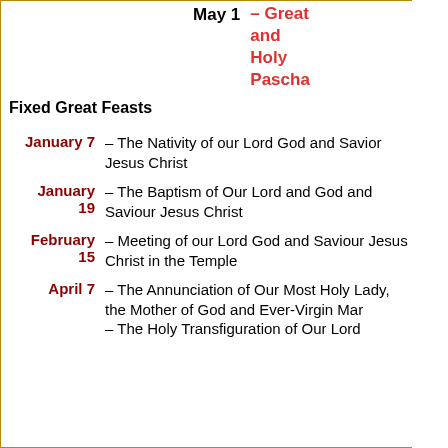May 1 – Great and Holy Pascha
Fixed Great Feasts
January 7 – The Nativity of our Lord God and Savior Jesus Christ
January 19 – The Baptism of Our Lord and God and Saviour Jesus Christ
February 15 – Meeting of our Lord God and Saviour Jesus Christ in the Temple
April 7 – The Annunciation of Our Most Holy Lady, the Mother of God and Ever-Virgin Mar
– The Holy Transfiguration of Our Lord